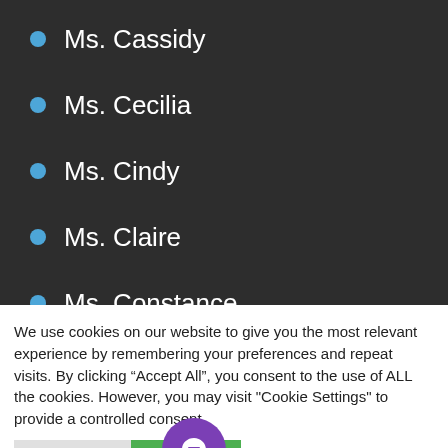Ms. Cassidy
Ms. Cecilia
Ms. Cindy
Ms. Claire
Ms. Constance
Ms. Daphne
Ms. Erika
Ms. Fiona
We use cookies on our website to give you the most relevant experience by remembering your preferences and repeat visits. By clicking “Accept All”, you consent to the use of ALL the cookies. However, you may visit "Cookie Settings" to provide a controlled consent.
Cookie Settings | Accept All